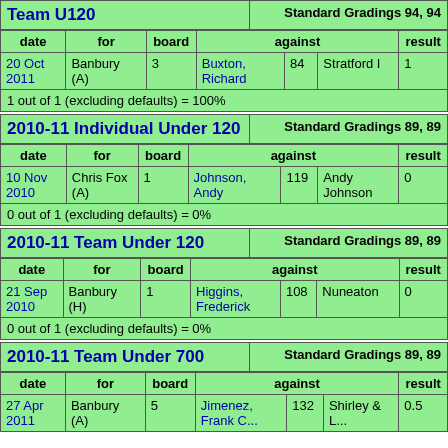Team U120 — Standard Gradings 94, 94
| date | for | board | against |  |  | result |
| --- | --- | --- | --- | --- | --- | --- |
| 20 Oct 2011 | Banbury (A) | 3 | Buxton, Richard | 84 | Stratford I | 1 |
1 out of 1 (excluding defaults) = 100%
2010-11 Individual Under 120 — Standard Gradings 89, 89
| date | for | board | against |  |  | result |
| --- | --- | --- | --- | --- | --- | --- |
| 10 Nov 2010 | Chris Fox (A) | 1 | Johnson, Andy | 119 | Andy Johnson | 0 |
0 out of 1 (excluding defaults) = 0%
2010-11 Team Under 120 — Standard Gradings 89, 89
| date | for | board | against |  |  | result |
| --- | --- | --- | --- | --- | --- | --- |
| 21 Sep 2010 | Banbury (H) | 1 | Higgins, Frederick | 108 | Nuneaton | 0 |
0 out of 1 (excluding defaults) = 0%
2010-11 Team Under 700 — Standard Gradings 89, 89
| date | for | board | against |  |  | result |
| --- | --- | --- | --- | --- | --- | --- |
| 27 Apr 2011 | Banbury (A) | 5 | Jimenez, Frank C... | 132 | Shirley & L... | 0.5 |